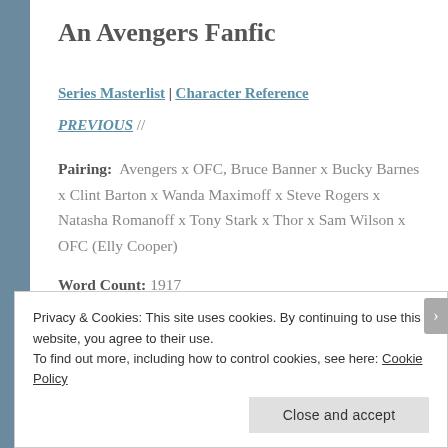An Avengers Fanfic
Series Masterlist | Character Reference
PREVIOUS //
Pairing:  Avengers x OFC, Bruce Banner x Bucky Barnes x Clint Barton x Wanda Maximoff x Steve Rogers x Natasha Romanoff x Tony Stark x Thor x Sam Wilson x OFC (Elly Cooper)
Word Count: 1917
Privacy & Cookies: This site uses cookies. By continuing to use this website, you agree to their use.
To find out more, including how to control cookies, see here: Cookie Policy